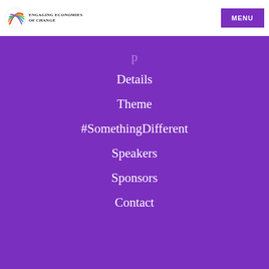ENGAGING ECONOMIES OF CHANGE
Details
Theme
#SomethingDifferent
Speakers
Sponsors
Contact